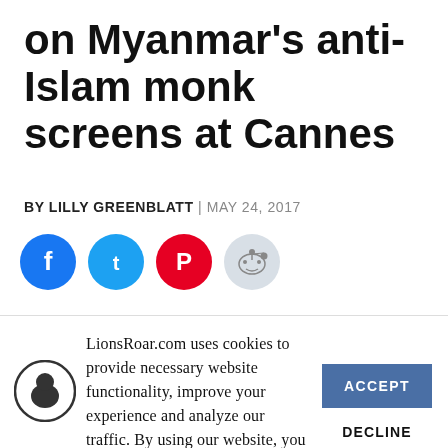on Myanmar's anti-Islam monk screens at Cannes
BY LILLY GREENBLATT| MAY 24, 2017
[Figure (other): Social share buttons: Facebook (blue), Twitter (blue), Pinterest (red), Reddit (light blue/grey)]
LionsRoar.com uses cookies to provide necessary website functionality, improve your experience and analyze our traffic. By using our website, you agree to our Privacy Policy and our cookies usage.
ACCEPT
DECLINE